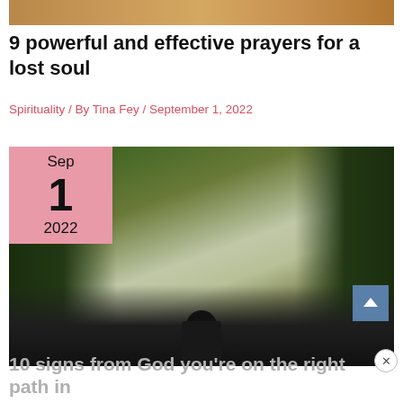[Figure (photo): Partial top strip of a photo showing warm tones, cropped at top of page]
9 powerful and effective prayers for a lost soul
Spirituality / By Tina Fey / September 1, 2022
[Figure (photo): A person facing away from camera standing in a forest path with tall pine trees and mountains in the background; a pink date badge overlay in top-left reads Sep 1 2022]
10 signs from God you’re on the right path in